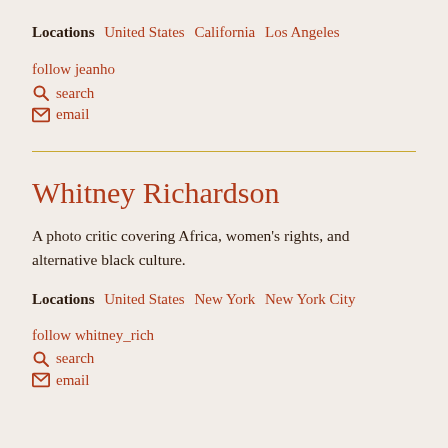Locations  United States  California  Los Angeles
follow jeanho
search
email
Whitney Richardson
A photo critic covering Africa, women's rights, and alternative black culture.
Locations  United States  New York  New York City
follow whitney_rich
search
email